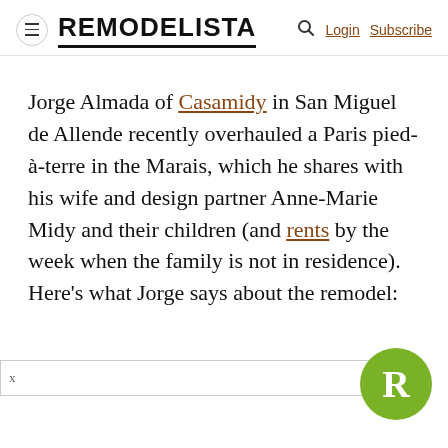REMODELISTA  Login  Subscribe
Jorge Almada of Casamidy in San Miguel de Allende recently overhauled a Paris pied-à-terre in the Marais, which he shares with his wife and design partner Anne-Marie Midy and their children (and rents by the week when the family is not in residence). Here's what Jorge says about the remodel: